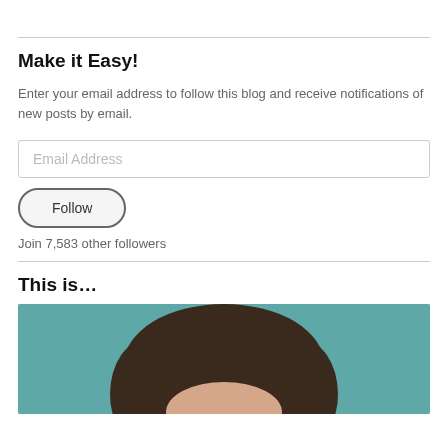Make it Easy!
Enter your email address to follow this blog and receive notifications of new posts by email.
Email Address
Follow
Join 7,583 other followers
This is...
[Figure (photo): Close-up photo of a person with dark hair against a teal/blue background, showing the top portion of their face and hair.]